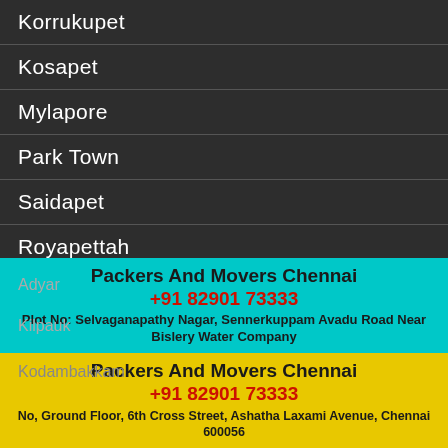Korrukupet
Kosapet
Mylapore
Park Town
Saidapet
Royapettah
Trichy
Egmore
Agaram
Adyar
Kilpauk
Kodambakkam
Packers And Movers Chennai
+91 82901 73333
Plot No: Selvaganapathy Nagar, Sennerkuppam Avadu Road Near Bislery Water Company
Packers And Movers Chennai
+91 82901 73333
No, Ground Floor, 6th Cross Street, Ashatha Laxami Avenue, Chennai 600056